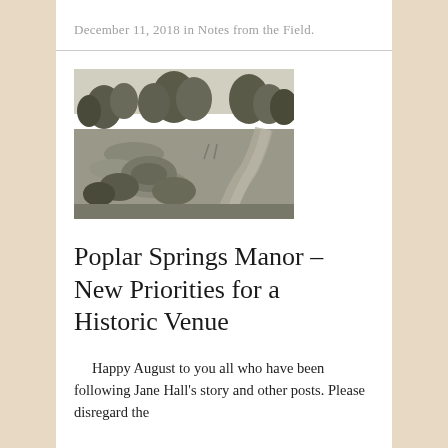December 11, 2018 in Notes from the Field.
[Figure (photo): Black and white photograph of a historic manor estate showing a curved driveway, manicured shrubs, tall trees, and open lawn grounds.]
Poplar Springs Manor – New Priorities for a Historic Venue
Happy August to you all who have been following Jane Hall's story and other posts. Please disregard the